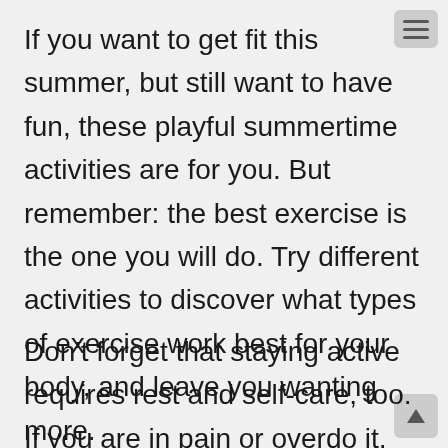If you want to get fit this summer, but still want to have fun, these playful summertime activities are for you. But remember: the best exercise is the one you will do. Try different activities to discover what types of exercise work best for your body, and leave you wanting more.
Don't forget that staying active requires rest and self-care, too. If you are in pain or overdo it, you won't be able to enjoy these